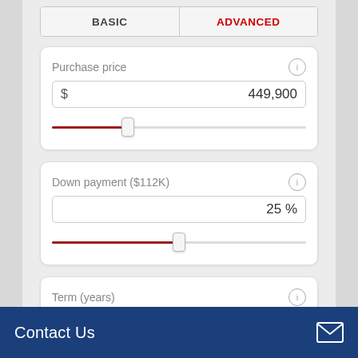BASIC | ADVANCED
Purchase price
$ 449,900
Down payment ($112K)
25 %
Term (years)
30
Contact Us